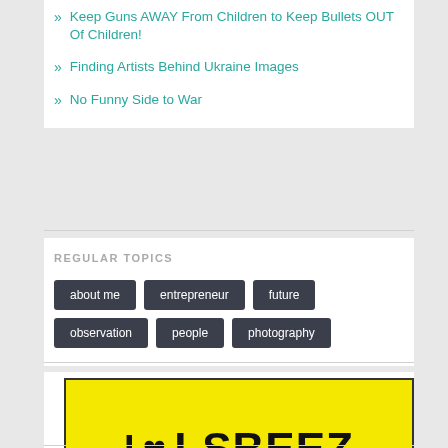» Keep Guns AWAY From Children to Keep Bullets OUT Of Children!
» Finding Artists Behind Ukraine Images
» No Funny Side to War
REGULAR TOPICS
about me | entrepreneur | future | observation | people | photography
[Figure (logo): I Love LSBEEZ yellow banner - KANGAROO ISLAND LIGURIAN QUEEN BEES, HONEY, PROPOLIS & ROYAL JELLY]